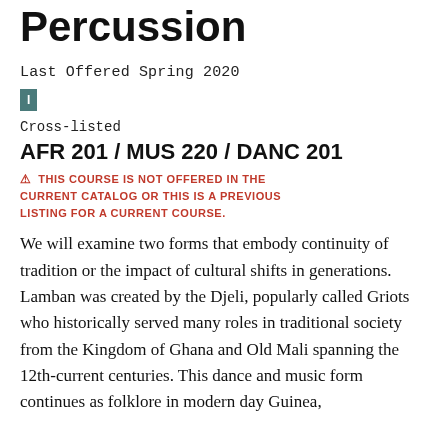Percussion
Last Offered Spring 2020
I
Cross-listed
AFR 201 / MUS 220 / DANC 201
THIS COURSE IS NOT OFFERED IN THE CURRENT CATALOG OR THIS IS A PREVIOUS LISTING FOR A CURRENT COURSE.
We will examine two forms that embody continuity of tradition or the impact of cultural shifts in generations. Lamban was created by the Djeli, popularly called Griots who historically served many roles in traditional society from the Kingdom of Ghana and Old Mali spanning the 12th-current centuries. This dance and music form continues as folklore in modern day Guinea,